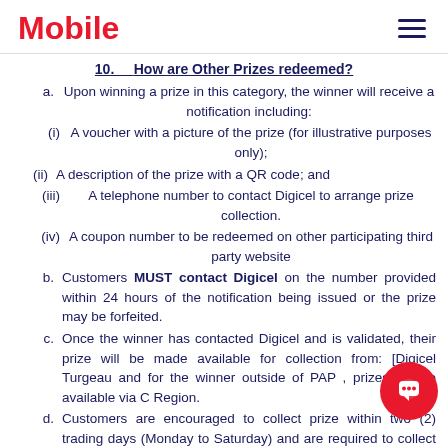Mobile
10.   How are Other Prizes redeemed?
a.   Upon winning a prize in this category, the winner will receive a notification including:
(i)   A voucher with a picture of the prize (for illustrative purposes only);
(ii)   A description of the prize with a QR code; and
(iii)   A telephone number to contact Digicel to arrange prize collection.
(iv)   A coupon number to be redeemed on other participating third party website
b.   Customers MUST contact Digicel on the number provided within 24 hours of the notification being issued or the prize may be forfeited.
c.   Once the winner has contacted Digicel and is validated, their prize will be made available for collection from: [Digicel Turgeau and for the winner outside of PAP , prizes will be available via C... Region.
d.   Customers are encouraged to collect prize within two (2) trading days (Monday to Saturday) and are required to collect their prize